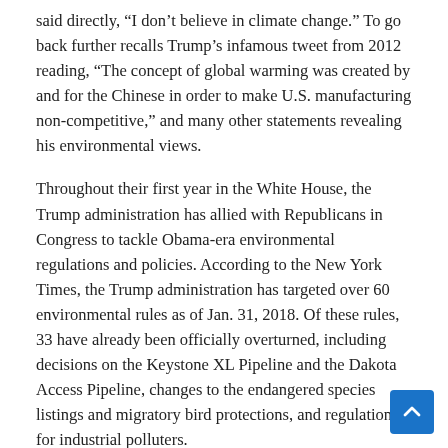said directly, “I don’t believe in climate change.” To go back further recalls Trump’s infamous tweet from 2012 reading, “The concept of global warming was created by and for the Chinese in order to make U.S. manufacturing non-competitive,” and many other statements revealing his environmental views.
Throughout their first year in the White House, the Trump administration has allied with Republicans in Congress to tackle Obama-era environmental regulations and policies. According to the New York Times, the Trump administration has targeted over 60 environmental rules as of Jan. 31, 2018. Of these rules, 33 have already been officially overturned, including decisions on the Keystone XL Pipeline and the Dakota Access Pipeline, changes to the endangered species listings and migratory bird protections, and regulations for industrial polluters.
Some of the changes sought by the Trump administration are still in progress. Secretary of the Interior Ryan Zinke, a man in control of the federal agency responsible for managing and conserving America’s federal land and natural resources, has previously made bold claims for sweeping environmental cuts.